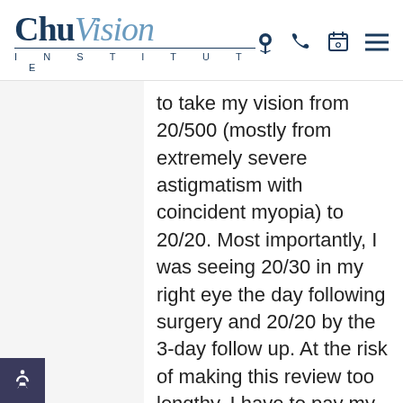Chu Vision INSTITUTE
to take my vision from 20/500 (mostly from extremely severe astigmatism with coincident myopia) to 20/20. Most importantly, I was seeing 20/30 in my right eye the day following surgery and 20/20 by the 3-day follow up. At the risk of making this review too lengthy, I have to pay my respect not only to Dr. Chu's practice but to all the individuals who work there. From Dr. Hassan to Dr. Hampton, surgical intake nurses and all the